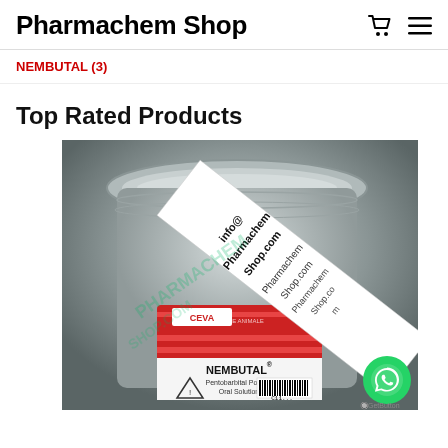Pharmachem Shop
NEMBUTAL (3)
Top Rated Products
[Figure (photo): A glass jar with a CEVA brand NEMBUTAL Pentobarbital Powder Oral Solution label, with a white paper strip showing 'info@PharmchemShop.com' and 'PharmchemShop.com' watermark text over the image. A warning triangle symbol and barcode are visible on the jar label.]